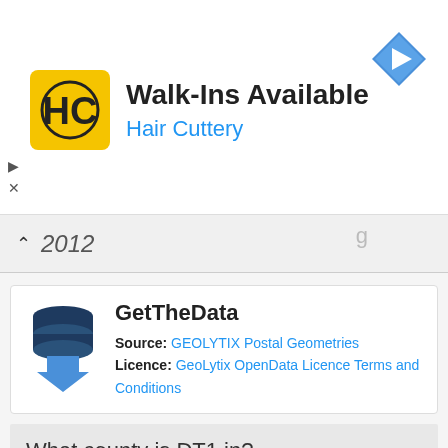[Figure (other): Hair Cuttery advertisement banner with yellow HC logo, title 'Walk-Ins Available', subtitle 'Hair Cuttery', and a blue navigation arrow icon on the right]
2012
[Figure (other): GetTheData widget card showing a dark blue database icon with downward arrow. Source: GEOLYTIX Postal Geometries. Licence: GeoLytix OpenData Licence Terms and Conditions]
Source: GEOLYTIX Postal Geometries
Licence: GeoLytix OpenData Licence Terms and Conditions
What county is DT1 in?
DT1 is in the county of Dorset.
[Figure (other): Partial GetTheData widget card showing database icon and title GetTheData (cut off at bottom of page)]